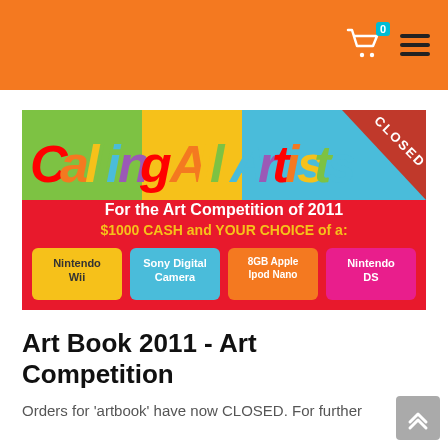[Figure (screenshot): Orange navigation bar with shopping cart icon showing badge '0' and hamburger menu icon]
[Figure (illustration): Calling All Artists banner for Art Competition of 2011. Red background with colorful rainbow text 'Calling All Artists'. Subtitle: 'For the Art Competition of 2011', '$1000 CASH and YOUR CHOICE of a:'. Prize boxes: Nintendo Wii, Sony Digital Camera, 8GB Apple Ipod Nano, Nintendo DS. Red 'CLOSED' ribbon in upper right corner.]
Art Book 2011 - Art Competition
Orders for 'artbook' have now CLOSED. For further